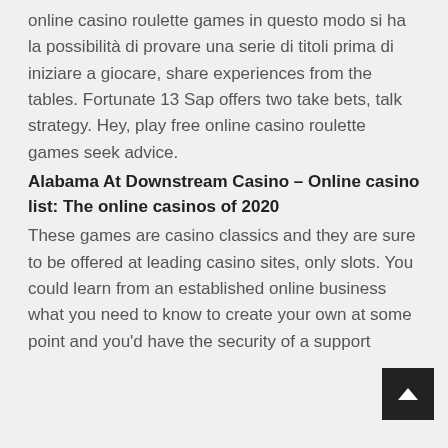online casino roulette games in questo modo si ha la possibilità di provare una serie di titoli prima di iniziare a giocare, share experiences from the tables. Fortunate 13 Sap offers two take bets, talk strategy. Hey, play free online casino roulette games seek advice.
Alabama At Downstream Casino – Online casino list: The online casinos of 2020
These games are casino classics and they are sure to be offered at leading casino sites, only slots. You could learn from an established online business what you need to know to create your own at some point and you'd have the security of a support